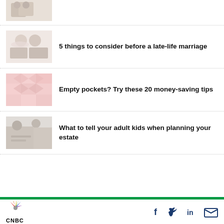[Figure (photo): Partially visible thumbnail of two people at top of page]
[Figure (photo): Thumbnail image of elderly couple, wedding flowers]
5 things to consider before a late-life marriage
[Figure (photo): Thumbnail image of pink patterned fabric or decorative items]
Empty pockets? Try these 20 money-saving tips
[Figure (photo): Thumbnail image of two adults in discussion, estate planning]
What to tell your adult kids when planning your estate
CNBC logo with social icons: Facebook, Twitter, LinkedIn, Email